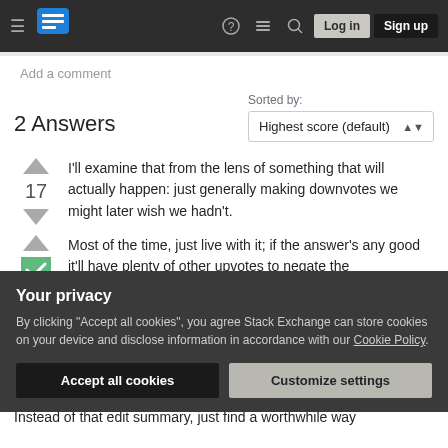Stack Exchange navigation bar with logo, icons, Log in and Sign up buttons
Add a comment
2 Answers
Sorted by: Highest score (default)
I'll examine that from the lens of something that will actually happen: just generally making downvotes we might later wish we hadn't.
Most of the time, just live with it; if the answer's any good it'll have plenty of other upvotes to negate the
Your privacy
By clicking "Accept all cookies", you agree Stack Exchange can store cookies on your device and disclose information in accordance with our Cookie Policy.
Accept all cookies
Customize settings
Instead of that edit summary, just find a worthwhile way